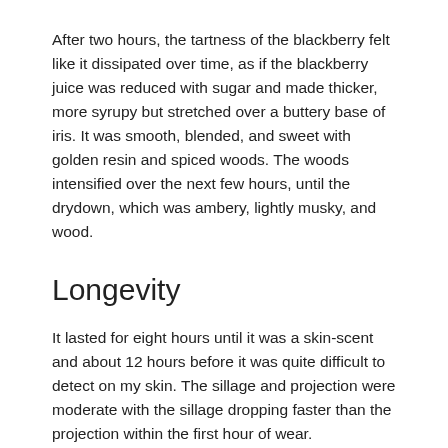After two hours, the tartness of the blackberry felt like it dissipated over time, as if the blackberry juice was reduced with sugar and made thicker, more syrupy but stretched over a buttery base of iris. It was smooth, blended, and sweet with golden resin and spiced woods. The woods intensified over the next few hours, until the drydown, which was ambery, lightly musky, and wood.
Longevity
It lasted for eight hours until it was a skin-scent and about 12 hours before it was quite difficult to detect on my skin. The sillage and projection were moderate with the sillage dropping faster than the projection within the first hour of wear.
Testing Methodology